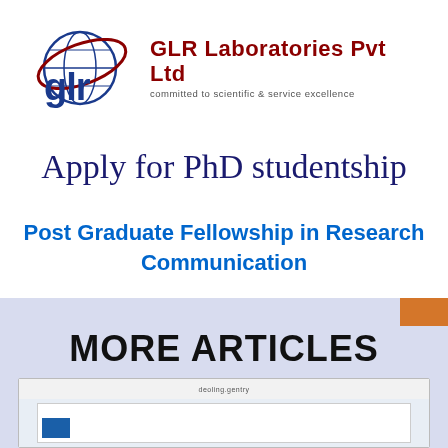[Figure (logo): GLR Laboratories Pvt Ltd logo with globe and orbit graphic, company name in dark red, and tagline 'committed to scientific & service excellence']
Apply for PhD studentship
Post Graduate Fellowship in Research Communication
MORE ARTICLES
[Figure (screenshot): Partial screenshot of an article preview card showing a document page]